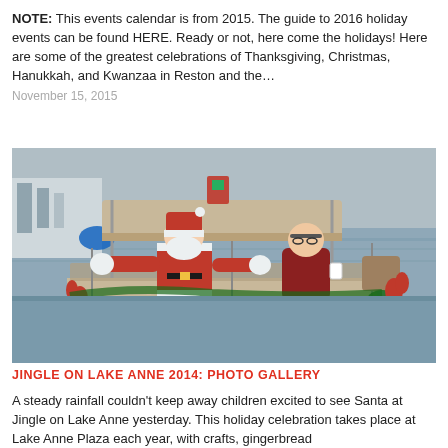NOTE: This events calendar is from 2015. The guide to 2016 holiday events can be found HERE. Ready or not, here come the holidays! Here are some of the greatest celebrations of Thanksgiving, Christmas, Hanukkah, and Kwanzaa in Reston and the...
November 15, 2015
[Figure (photo): Santa Claus and a companion sitting on a decorated pontoon boat on a lake, with a marina visible in the background. Santa is wearing his traditional red suit and white beard, waving with arms outstretched. The boat is decorated with red bows, garland, and holiday greenery.]
JINGLE ON LAKE ANNE 2014: PHOTO GALLERY
A steady rainfall couldn't keep away children excited to see Santa at Jingle on Lake Anne yesterday. This holiday celebration takes place at Lake Anne Plaza each year, with crafts, gingerbread